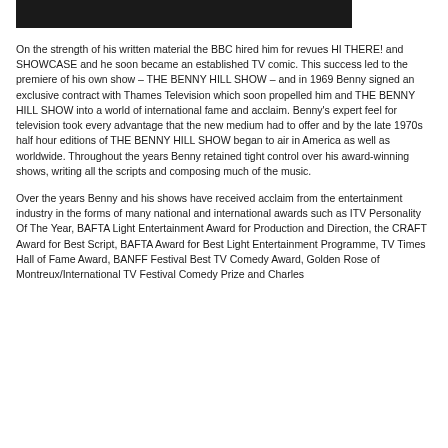[Figure (photo): Partial view of a photograph at the top of the page, showing a dark scene with bokeh lighting effects.]
On the strength of his written material the BBC hired him for revues HI THERE! and SHOWCASE and he soon became an established TV comic. This success led to the premiere of his own show – THE BENNY HILL SHOW – and in 1969 Benny signed an exclusive contract with Thames Television which soon propelled him and THE BENNY HILL SHOW into a world of international fame and acclaim. Benny's expert feel for television took every advantage that the new medium had to offer and by the late 1970s half hour editions of THE BENNY HILL SHOW began to air in America as well as worldwide. Throughout the years Benny retained tight control over his award-winning shows, writing all the scripts and composing much of the music.
Over the years Benny and his shows have received acclaim from the entertainment industry in the forms of many national and international awards such as ITV Personality Of The Year, BAFTA Light Entertainment Award for Production and Direction, the CRAFT Award for Best Script, BAFTA Award for Best Light Entertainment Programme, TV Times Hall of Fame Award, BANFF Festival Best TV Comedy Award, Golden Rose of Montreux/International TV Festival Comedy Prize and Charles